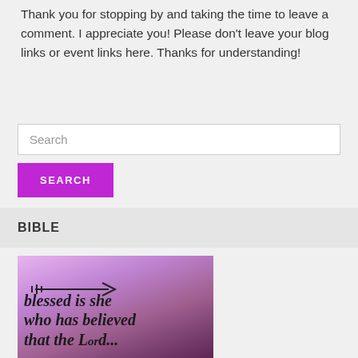Thank you for stopping by and taking the time to leave a comment. I appreciate you! Please don't leave your blog links or event links here. Thanks for understanding!
Search
SEARCH
BIBLE
[Figure (illustration): Inspirational image with purple/pink gradient background showing an arrow graphic and handwritten-style script text reading 'blessed is she who has believed that the Lord...']